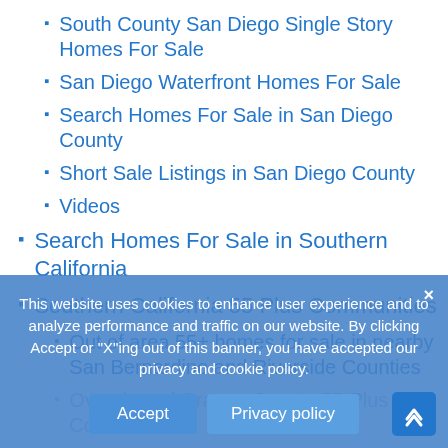South County San Diego Single Story Homes For Sale
San Diego Waterfront Homes For Sale
Search Homes For Sale in San Diego County
Short Sale Listings in San Diego County
Videos
Search Homes For Sale in Southern California
Southern California 55 Plus Communities
Out of area 55+ homes for sale in nearby San Bernardino and Riverside Counties
Overview of Orange County 55 Plus Communities
FAQ - Frequently Asked Questions: Orange County 55 Plus Communities
Mission Viejo 55+ Communities
Open Houses in Orange County 55 and...
This website uses cookies to enhance user experience and to analyze performance and traffic on our website. By clicking Accept or "X"ing out of this banner, you have accepted our privacy and cookie policy.